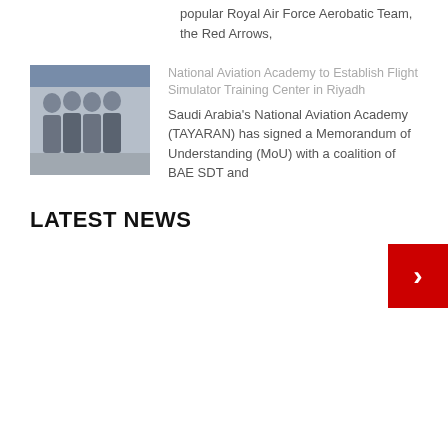popular Royal Air Force Aerobatic Team, the Red Arrows,
[Figure (photo): Group photo of four men in business attire standing together]
National Aviation Academy to Establish Flight Simulator Training Center in Riyadh
Saudi Arabia's National Aviation Academy (TAYARAN) has signed a Memorandum of Understanding (MoU) with a coalition of BAE SDT and
LATEST NEWS
[Figure (other): Red navigation button with right-pointing arrow]